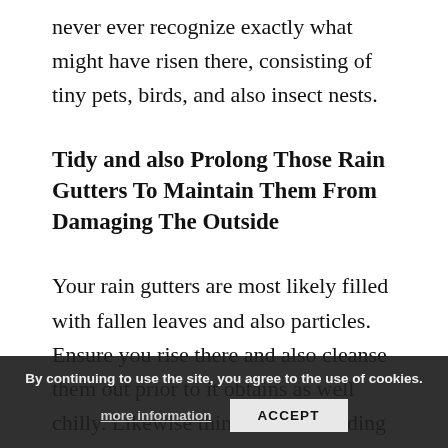never ever recognize exactly what might have risen there, consisting of tiny pets, birds, and also insect nests.
Tidy and also Prolong Those Rain Gutters To Maintain Them From Damaging The Outside
Your rain gutters are most likely filled with fallen leaves and also particles. Ensure you rise there and also cleanse them out prior to it obtains as well chilly. Likewise think about including an extender to the pipeline, to take any type of draining water at the very least a couple of feet from your house. This will certainly ma…do…n from coming to be harmed, or water pressing in via unsealed
By continuing to use the site, you agree to the use of cookies.
more information   ACCEPT